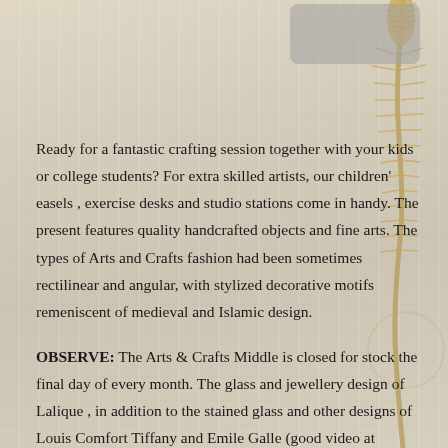[Figure (photo): Placeholder image box at the top of the page, partially visible, with a dried grass stalk/plant on the right side of the page overlaying the wooden background texture.]
Ready for a fantastic crafting session together with your kids or college students? For extra skilled artists, our children' easels , exercise desks and studio stations come in handy. The present features quality handcrafted objects and fine arts. The types of Arts and Crafts fashion had been sometimes rectilinear and angular, with stylized decorative motifs remeniscent of medieval and Islamic design.
OBSERVE: The Arts & Crafts Middle is closed for stock the final day of every month. The glass and jewellery design of Lalique , in addition to the stained glass and other designs of Louis Comfort Tiffany and Emile Galle (good video at backside of web page) have been necessary examples of Art Nouveau model.
We're ladies who do arts and crafts. 2012: OCAC declares a Master